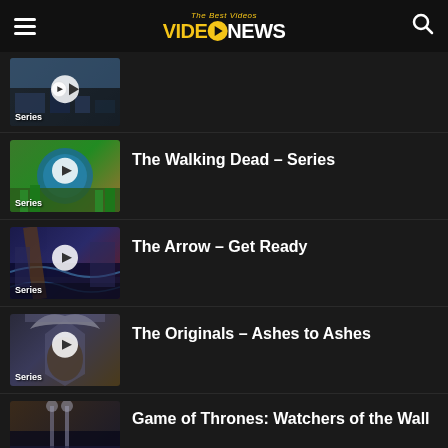VIDEONEWS – The Best Videos
[Figure (screenshot): Video thumbnail with play button, labeled Series]
[Figure (screenshot): Video thumbnail with play button, labeled Series – Walking Dead theme (colorful globe/palm trees)]
The Walking Dead – Series
[Figure (screenshot): Video thumbnail with play button, labeled Series – night bridge cityscape]
The Arrow – Get Ready
[Figure (screenshot): Video thumbnail with play button, labeled Series – angel/wings figure]
The Originals – Ashes to Ashes
[Figure (screenshot): Video thumbnail – dark cityscape with lights]
Game of Thrones: Watchers of the Wall